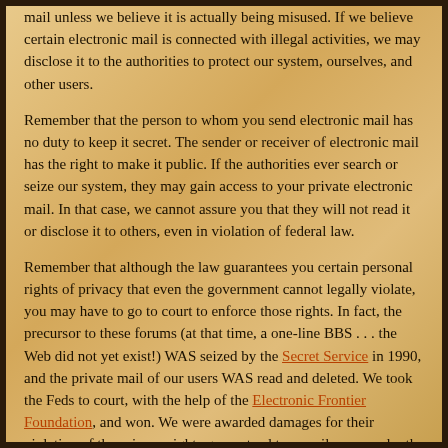mail unless we believe it is actually being misused. If we believe certain electronic mail is connected with illegal activities, we may disclose it to the authorities to protect our system, ourselves, and other users.
Remember that the person to whom you send electronic mail has no duty to keep it secret. The sender or receiver of electronic mail has the right to make it public. If the authorities ever search or seize our system, they may gain access to your private electronic mail. In that case, we cannot assure you that they will not read it or disclose it to others, even in violation of federal law.
Remember that although the law guarantees you certain personal rights of privacy that even the government cannot legally violate, you may have to go to court to enforce those rights. In fact, the precursor to these forums (at that time, a one-line BBS . . . the Web did not yet exist!) WAS seized by the Secret Service in 1990, and the private mail of our users WAS read and deleted. We took the Feds to court, with the help of the Electronic Frontier Foundation, and won. We were awarded damages for their violation of the privacy rights guaranteed to e-mail users under the ECPA. We cannot guarantee that they learned anything from the experience, even though it cost them hundreds of thousands of dollars and a great deal of public embarrassment.
F. Editorial Control
We want our system to be a worthwhile place for all of our